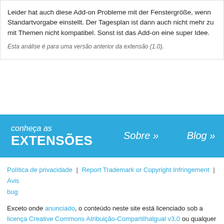Leider hat auch diese Add-on Probleme mit der Fenstergröße, wenn Standartvorgabe einstellt. Der Tagesplan ist dann auch nicht mehr zu mit Themen nicht kompatibel. Sonst ist das Add-on eine super Idee.
Esta análise é para uma versão anterior da extensão (1.0).
conheça as EXTENSÕES
Sobre »
Blog »
Política de privacidade | Report Trademark or Copyright Infringement | Avis bug
Exceto onde anunciado, o conteúdo neste site está licenciado sob a licença Creative Commons Atribuição-Compartilhalgual v3.0 ou qualquer versã